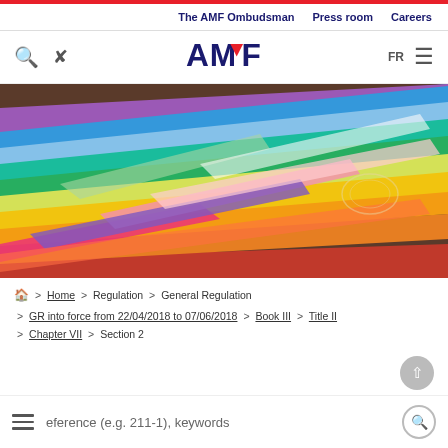The AMF Ombudsman  Press room  Careers
[Figure (logo): AMF logo with red and blue letters]
[Figure (photo): Colorful fanned-out paper or folder pages in various colors including pink, green, yellow, orange, purple, blue, red]
Home > Regulation > General Regulation > GR into force from 22/04/2018 to 07/06/2018 > Book III > Title II > Chapter VII > Section 2
eference (e.g. 211-1), keywords